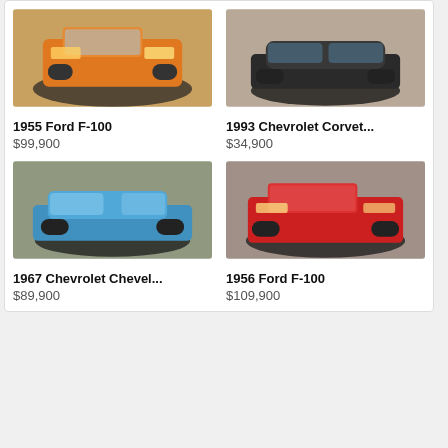[Figure (photo): 1955 Ford F-100 orange pickup truck on a showroom turntable]
1955 Ford F-100
$99,900
[Figure (photo): 1993 Chevrolet Corvette dark colored car on a showroom turntable]
1993 Chevrolet Corvet...
$34,900
[Figure (photo): 1967 Chevrolet Chevelle blue classic car on a showroom turntable]
1967 Chevrolet Chevel...
$89,900
[Figure (photo): 1956 Ford F-100 red pickup truck on a showroom turntable]
1956 Ford F-100
$109,900